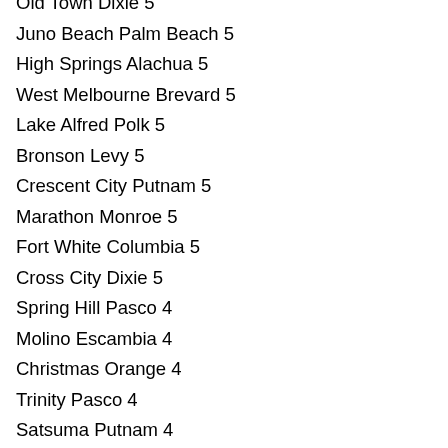Old Town Dixie 5
Juno Beach Palm Beach 5
High Springs Alachua 5
West Melbourne Brevard 5
Lake Alfred Polk 5
Bronson Levy 5
Crescent City Putnam 5
Marathon Monroe 5
Fort White Columbia 5
Cross City Dixie 5
Spring Hill Pasco 4
Molino Escambia 4
Christmas Orange 4
Trinity Pasco 4
Satsuma Putnam 4
Tavernier Monroe 4
Golden Beach Dade 4
Atlantis Palm Beach 4